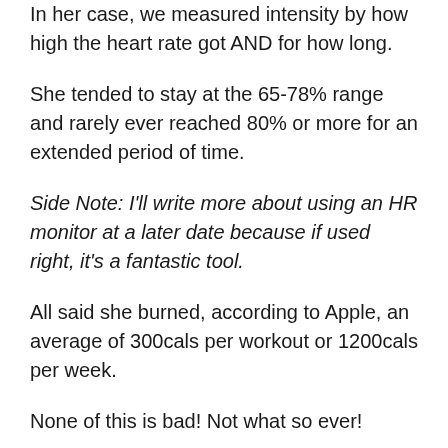In her case, we measured intensity by how high the heart rate got AND for how long.
She tended to stay at the 65-78% range and rarely ever reached 80% or more for an extended period of time.
Side Note: I'll write more about using an HR monitor at a later date because if used right, it's a fantastic tool.
All said she burned, according to Apple, an average of 300cals per workout or 1200cals per week.
None of this is bad! Not what so ever!